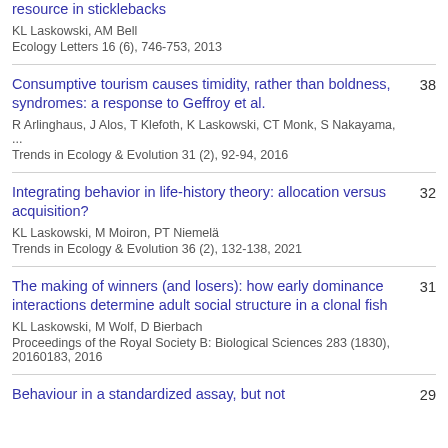resource in sticklebacks
KL Laskowski, AM Bell
Ecology Letters 16 (6), 746-753, 2013
Consumptive tourism causes timidity, rather than boldness, syndromes: a response to Geffroy et al.
R Arlinghaus, J Alos, T Klefoth, K Laskowski, CT Monk, S Nakayama, ...
Trends in Ecology & Evolution 31 (2), 92-94, 2016
38
Integrating behavior in life-history theory: allocation versus acquisition?
KL Laskowski, M Moiron, PT Niemelä
Trends in Ecology & Evolution 36 (2), 132-138, 2021
32
The making of winners (and losers): how early dominance interactions determine adult social structure in a clonal fish
KL Laskowski, M Wolf, D Bierbach
Proceedings of the Royal Society B: Biological Sciences 283 (1830), 20160183, 2016
31
Behaviour in a standardized assay, but not
29